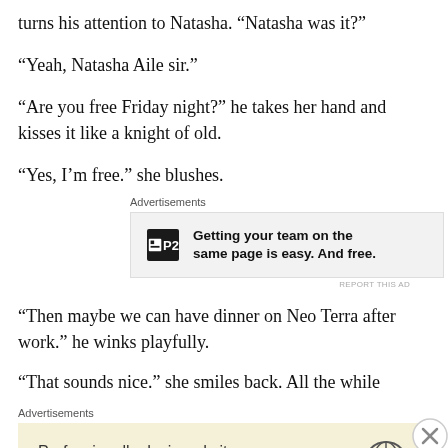turns his attention to Natasha. “Natasha was it?”
“Yeah, Natasha Aile sir.”
“Are you free Friday night?” he takes her hand and kisses it like a knight of old.
“Yes, I’m free.” she blushes.
[Figure (other): Advertisement banner for P2: 'Getting your team on the same page is easy. And free.']
“Then maybe we can have dinner on Neo Terra after work.” he winks playfully.
“That sounds nice.” she smiles back. All the while Tsuyosu and
[Figure (other): Advertisement banner for WordPress: 'Professionally designed sites in less than a week']